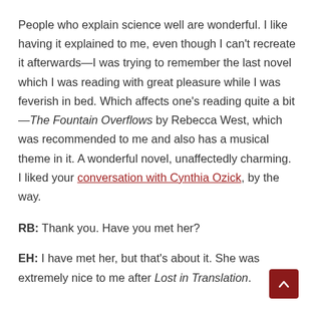People who explain science well are wonderful. I like having it explained to me, even though I can't recreate it afterwards—I was trying to remember the last novel which I was reading with great pleasure while I was feverish in bed. Which affects one's reading quite a bit—The Fountain Overflows by Rebecca West, which was recommended to me and also has a musical theme in it. A wonderful novel, unaffectedly charming. I liked your conversation with Cynthia Ozick, by the way.
RB: Thank you. Have you met her?
EH: I have met her, but that's about it. She was extremely nice to me after Lost in Translation.